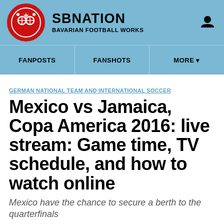SBNATION BAVARIAN FOOTBALL WORKS
FANPOSTS   FANSHOTS   MORE
GERMAN NATIONAL TEAM AND INTERNATIONAL SOCCER
Mexico vs Jamaica, Copa America 2016: live stream: Game time, TV schedule, and how to watch online
Mexico have the chance to secure a berth to the quarterfinals
By Ryan Cowper | @cowperryan | Jun 10, 2016, 2:00am CEST
SHARE